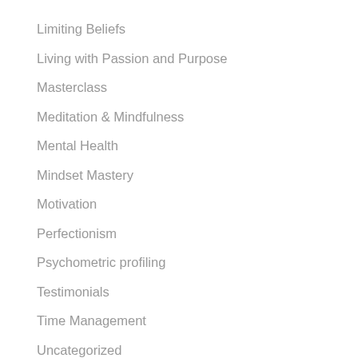Limiting Beliefs
Living with Passion and Purpose
Masterclass
Meditation & Mindfulness
Mental Health
Mindset Mastery
Motivation
Perfectionism
Psychometric profiling
Testimonials
Time Management
Uncategorized